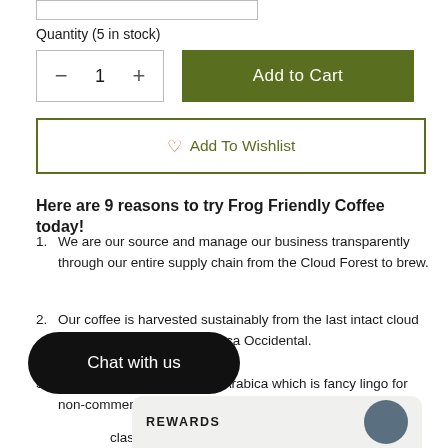Quantity (5 in stock)
– 1 +
Add to Cart
♡ Add To Wishlist
Here are 9 reasons to try Frog Friendly Coffee today!
1. We are our source and manage our business transparently through our entire supply chain from the Cloud Forest to brew.
2. Our coffee is harvested sustainably from the last intact cloud forest of Mexico in the Oaxaca Occidental.
3. Our coffee is a ""Bourbon"" Arabica which is fancy lingo for non-commercial, and much like a fine wine. ...eived a grading of ...p class for specialty grade coffee.
Chat with us
REWARDS